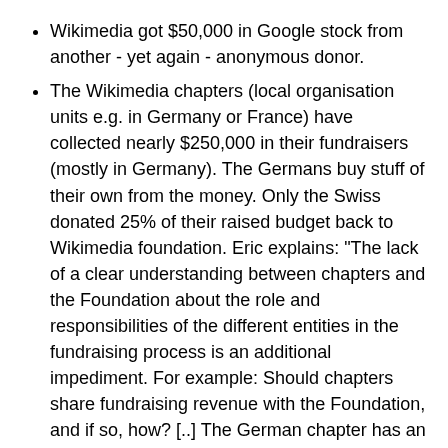Wikimedia got $50,000 in Google stock from another - yet again - anonymous donor.
The Wikimedia chapters (local organisation units e.g. in Germany or France) have collected nearly $250,000 in their fundraisers (mostly in Germany). The Germans buy stuff of their own from the money. Only the Swiss donated 25% of their raised budget back to Wikimedia foundation. Eric explains: "The lack of a clear understanding between chapters and the Foundation about the role and responsibilities of the different entities in the fundraising process is an additional impediment. For example: Should chapters share fundraising revenue with the Foundation, and if so, how? [..] The German chapter has an informal agreement with the Foundation to invest half of its fundraising revenue in ways directly benefiting WMF projects."
Eric says it was not intended to raise the full $4.6m.